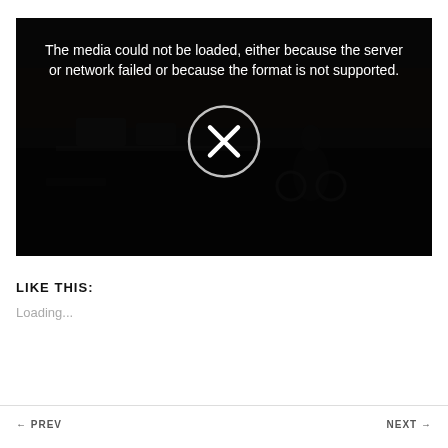[Figure (screenshot): Video player showing an error message overlay on a dark street scene. The error message reads: 'The media could not be loaded, either because the server or network failed or because the format is not supported.' A circle with an X icon is displayed in the center of the player.]
LIKE THIS:
Loading...
← PREV    NEXT →